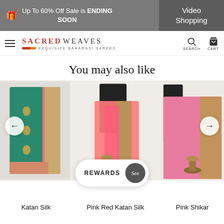Up To 60% Off Sale is ENDING SOON | Video Shopping
[Figure (logo): Sacred Weaves - Exquisite Banarasi Sarees logo with navigation bar including search and cart icons]
You may also like
[Figure (photo): Three product photos shown side by side: a teal/green Katan Silk saree, a Pink Red Katan Silk saree, and a Pink Shikar saree. Navigation arrows and Rewards button overlay.]
Katan Silk    Pink Red Katan Silk    Pink Shikar